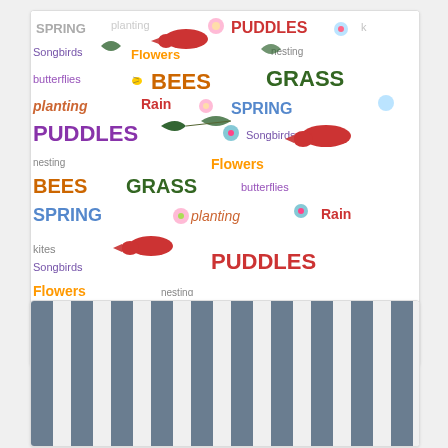[Figure (photo): Spring-themed fabric swatch with colorful words (PUDDLES, BEES, GRASS, SPRING, Flowers, Rain, planting, Butterflies, Songbirds) on white background with floral and bird illustrations]
Blue & White Elegance stripe blue sale
$6.50 $12.99
[Figure (photo): Blue and white vertical stripe fabric swatch]